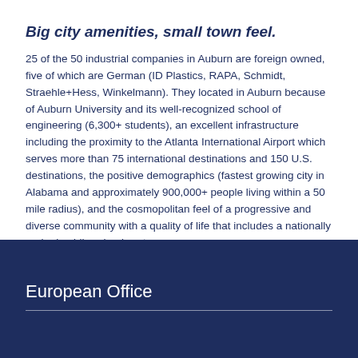Big city amenities, small town feel.
25 of the 50 industrial companies in Auburn are foreign owned, five of which are German (ID Plastics, RAPA, Schmidt, Straehle+Hess, Winkelmann). They located in Auburn because of Auburn University and its well-recognized school of engineering (6,300+ students), an excellent infrastructure including the proximity to the Atlanta International Airport which serves more than 75 international destinations and 150 U.S. destinations, the positive demographics (fastest growing city in Alabama and approximately 900,000+ people living within a 50 mile radius), and the cosmopolitan feel of a progressive and diverse community with a quality of life that includes a nationally ranked public school system.
European Office